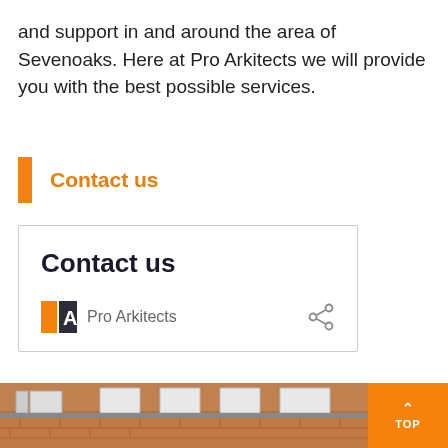and support in and around the area of Sevenoaks. Here at Pro Arkitects we will provide you with the best possible services.
Contact us
Contact us
Pro Arkitects
[Figure (screenshot): Bottom photograph showing a brick building exterior with windows and roof guttering]
TOP